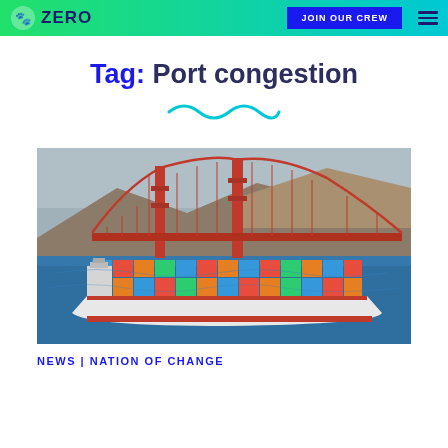ZERO | JOIN OUR CREW
Tag: Port congestion
[Figure (photo): Container ship passing under the Golden Gate Bridge in San Francisco Bay, with hills in the background and blue water. The ship is loaded with colorful stacked containers.]
NEWS | NATION OF CHANGE